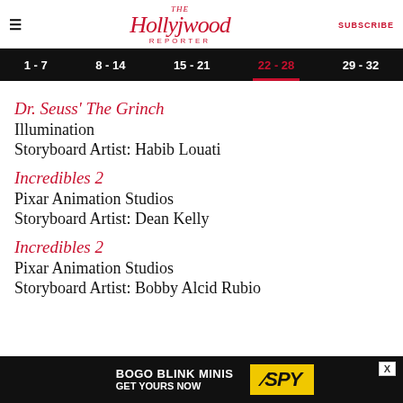The Hollywood Reporter | SUBSCRIBE
1 - 7 | 8 - 14 | 15 - 21 | 22 - 28 | 29 - 32
Dr. Seuss' The Grinch
Illumination
Storyboard Artist: Habib Louati
Incredibles 2
Pixar Animation Studios
Storyboard Artist: Dean Kelly
Incredibles 2
Pixar Animation Studios
Storyboard Artist: Bobby Alcid Rubio
[Figure (screenshot): BOGO BLINK MINIS GET YOURS NOW — SPY advertisement banner]